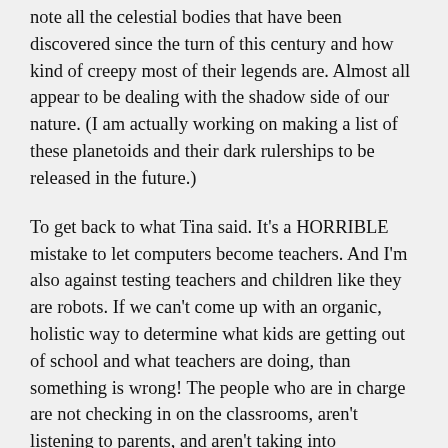note all the celestial bodies that have been discovered since the turn of this century and how kind of creepy most of their legends are. Almost all appear to be dealing with the shadow side of our nature. (I am actually working on making a list of these planetoids and their dark rulerships to be released in the future.)
To get back to what Tina said. It's a HORRIBLE mistake to let computers become teachers. And I'm also against testing teachers and children like they are robots. If we can't come up with an organic, holistic way to determine what kids are getting out of school and what teachers are doing, than something is wrong! The people who are in charge are not checking in on the classrooms, aren't listening to parents, and aren't taking into consideration other types of development. Sometimes, I think we've forgotten how to be human and it's just as important to teach theater, expressing one's feelings, art, music, political science, critical thinking, as it is to teach math and reading.
I have a sibling who is severely dyslexic. We were opposites. I was in gifted classes, they were in special ed. We were both